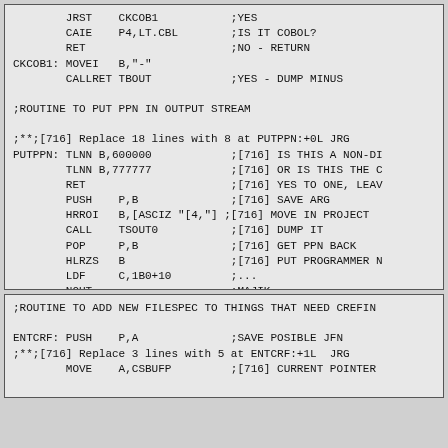Assembly code listing showing CKCOB1 and PUTPPN routines with comments
Assembly code listing showing ENTCRF routine with comments